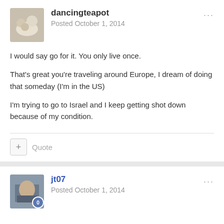dancingteapot — Posted October 1, 2014
I would say go for it. You only live once.

That's great you're traveling around Europe, I dream of doing that someday (I'm in the US)

I'm trying to go to Israel and I keep getting shot down because of my condition.
Quote
jt07 — Posted October 1, 2014
Travel can be amazing for those of us with MI. It gets us out of ourselves so to speak. I always have a great time when I travel